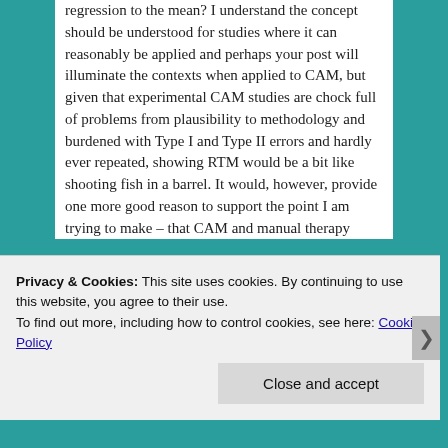regression to the mean? I understand the concept should be understood for studies where it can reasonably be applied and perhaps your post will illuminate the contexts when applied to CAM, but given that experimental CAM studies are chock full of problems from plausibility to methodology and burdened with Type I and Type II errors and hardly ever repeated, showing RTM would be a bit like shooting fish in a barrel. It would, however, provide one more good reason to support the point I am trying to make – that CAM and manual therapy
Privacy & Cookies: This site uses cookies. By continuing to use this website, you agree to their use.
To find out more, including how to control cookies, see here: Cookie Policy